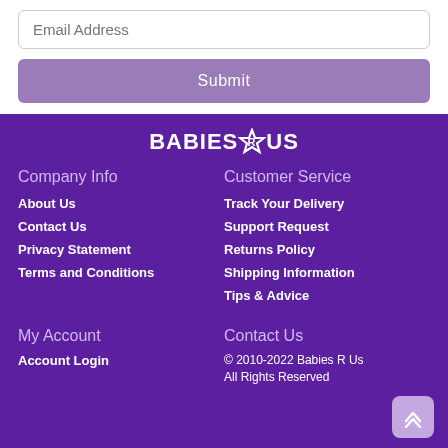Email Address
Submit
[Figure (logo): Babies R Us logo in white text on purple background]
Company Info
About Us
Contact Us
Privacy Statement
Terms and Conditions
Customer Service
Track Your Delivery
Support Request
Returns Policy
Shipping Information
Tips & Advice
My Account
Account Login
Contact Us
© 2010-2022 Babies R Us
All Rights Reserved